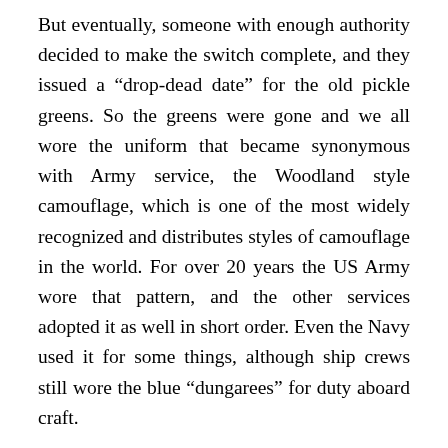But eventually, someone with enough authority decided to make the switch complete, and they issued a “drop-dead date” for the old pickle greens. So the greens were gone and we all wore the uniform that became synonymous with Army service, the Woodland style camouflage, which is one of the most widely recognized and distributes styles of camouflage in the world. For over 20 years the US Army wore that pattern, and the other services adopted it as well in short order. Even the Navy used it for some things, although ship crews still wore the blue “dungarees” for duty aboard craft.
This story about the coffee stains was related to me almost verbatim by a friend of mine who had been in the Army years before I showed up. He’d switched from